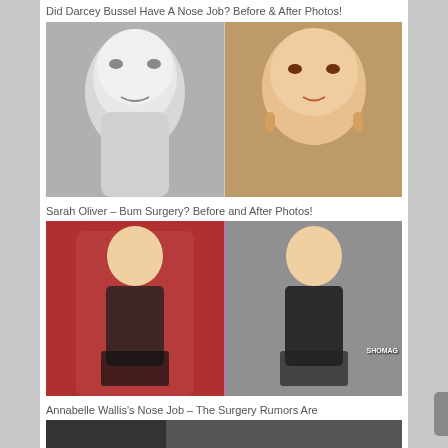Did Darcey Bussel Have A Nose Job? Before & After Photos!
[Figure (photo): Before and after comparison photos of Darcey Bussel. Left: black and white photo labeled 'Before'. Right: color photo labeled 'After'.]
Sarah Oliver – Bum Surgery? Before and After Photos!
[Figure (photo): Before and after comparison photos of Sarah Oliver. Left: photo on red background labeled 'Before'. Right: photo on grey background labeled 'After'. SHOMAG watermark visible.]
Annabelle Wallis's Nose Job – The Surgery Rumors Are True!
[Figure (photo): Partial photo with CelebsUnderTheKnife.com watermark overlay.]